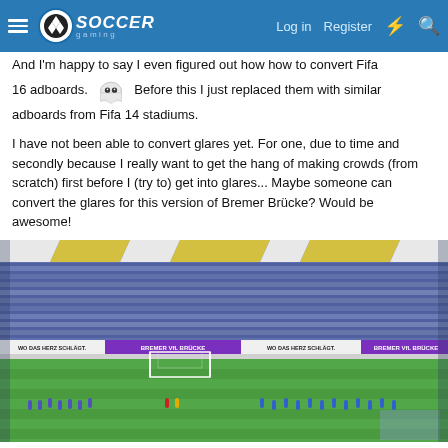Soccer Gaming — Log in | Register
And I'm happy to say I even figured out how how to convert Fifa 16 adboards. Before this I just replaced them with similar adboards from Fifa 14 stadiums.
I have not been able to convert glares yet. For one, due to time and secondly because I really want to get the hang of making crowds (from scratch) first before I (try to) get into glares... Maybe someone can convert the glares for this version of Bremer Brücke? Would be awesome!
[Figure (screenshot): Screenshot of a soccer video game stadium (Bremer Brücke) showing stands filled with fans in purple and white, adboards reading 'WO DAS HERZ SCHLÄGT.' and 'BREMER VfL BRÜCKE', with players lined up on the green pitch.]